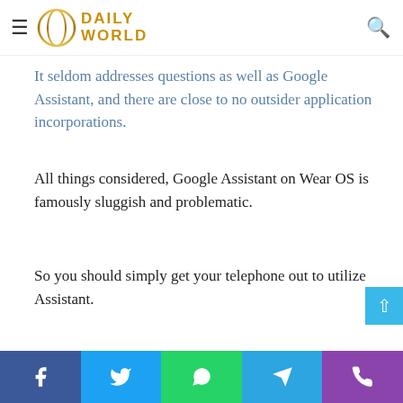DAILY WORLD
OK actually needs. However, you won't find as numerous displays as Wear OS.
It seldom addresses questions as well as Google Assistant, and there are close to no outsider application incorporations.
All things considered, Google Assistant on Wear OS is famously sluggish and problematic.
So you should simply get your telephone out to utilize Assistant.
Accessible sizes: 40 mm and 44 mm
Colors: Aqua Black, Pink Gold, Cloud Silver